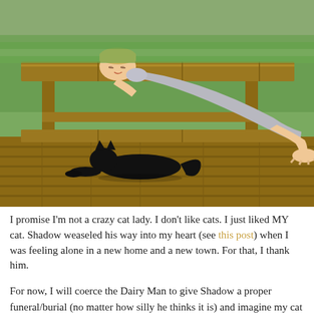[Figure (photo): A young blonde man in a grey t-shirt is doing a plank/push-up position with his head resting on a wooden bench/deck. Underneath the bench, a black cat is lying stretched out on the wooden deck boards. Green grass is visible in the background.]
I promise I'm not a crazy cat lady. I don't like cats. I just liked MY cat. Shadow weaseled his way into my heart (see this post) when I was feeling alone in a new home and a new town. For that, I thank him.
For now, I will coerce the Dairy Man to give Shadow a proper funeral/burial (no matter how silly he thinks it is) and imagine my cat with wings and a halo, terrorizing all the puppies in pet